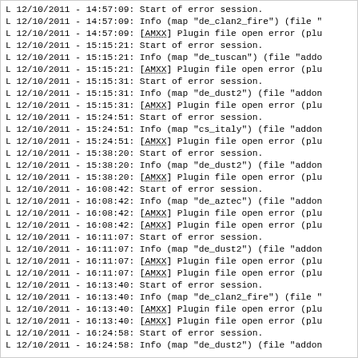L 12/10/2011 - 14:57:09: Start of error session.
L 12/10/2011 - 14:57:09: Info (map "de_clan2_fire") (file "
L 12/10/2011 - 14:57:09: [AMXX] Plugin file open error (plu
L 12/10/2011 - 15:15:21: Start of error session.
L 12/10/2011 - 15:15:21: Info (map "de_tuscan") (file "addo
L 12/10/2011 - 15:15:21: [AMXX] Plugin file open error (plu
L 12/10/2011 - 15:15:31: Start of error session.
L 12/10/2011 - 15:15:31: Info (map "de_dust2") (file "addon
L 12/10/2011 - 15:15:31: [AMXX] Plugin file open error (plu
L 12/10/2011 - 15:24:51: Start of error session.
L 12/10/2011 - 15:24:51: Info (map "cs_italy") (file "addon
L 12/10/2011 - 15:24:51: [AMXX] Plugin file open error (plu
L 12/10/2011 - 15:38:20: Start of error session.
L 12/10/2011 - 15:38:20: Info (map "de_dust2") (file "addon
L 12/10/2011 - 15:38:20: [AMXX] Plugin file open error (plu
L 12/10/2011 - 16:08:42: Start of error session.
L 12/10/2011 - 16:08:42: Info (map "de_aztec") (file "addon
L 12/10/2011 - 16:08:42: [AMXX] Plugin file open error (plu
L 12/10/2011 - 16:08:42: [AMXX] Plugin file open error (plu
L 12/10/2011 - 16:11:07: Start of error session.
L 12/10/2011 - 16:11:07: Info (map "de_dust2") (file "addon
L 12/10/2011 - 16:11:07: [AMXX] Plugin file open error (plu
L 12/10/2011 - 16:11:07: [AMXX] Plugin file open error (plu
L 12/10/2011 - 16:13:40: Start of error session.
L 12/10/2011 - 16:13:40: Info (map "de_clan2_fire") (file "
L 12/10/2011 - 16:13:40: [AMXX] Plugin file open error (plu
L 12/10/2011 - 16:13:40: [AMXX] Plugin file open error (plu
L 12/10/2011 - 16:24:58: Start of error session.
L 12/10/2011 - 16:24:58: Info (map "de_dust2") (file "addon